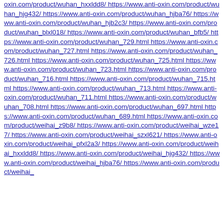https://www.anti-oxin.com/product/wuhan_hxxldd8/ https://www.anti-oxin.com/product/wuhan_hjg432/ https://www.anti-oxin.com/product/wuhan_hjba76/ https://www.anti-oxin.com/product/wuhan_hjb2c3/ https://www.anti-oxin.com/product/wuhan_blxl018/ https://www.anti-oxin.com/product/wuhan_bfb5/ https://www.anti-oxin.com/product/wuhan_729.html https://www.anti-oxin.com/product/wuhan_727.html https://www.anti-oxin.com/product/wuhan_726.html https://www.anti-oxin.com/product/wuhan_725.html https://www.anti-oxin.com/product/wuhan_723.html https://www.anti-oxin.com/product/wuhan_716.html https://www.anti-oxin.com/product/wuhan_715.html https://www.anti-oxin.com/product/wuhan_713.html https://www.anti-oxin.com/product/wuhan_711.html https://www.anti-oxin.com/product/wuhan_708.html https://www.anti-oxin.com/product/wuhan_697.html https://www.anti-oxin.com/product/wuhan_689.html https://www.anti-oxin.com/product/weihai_z9b8/ https://www.anti-oxin.com/product/weihai_wze17/ https://www.anti-oxin.com/product/weihai_szxl621/ https://www.anti-oxin.com/product/weihai_pfxl2a3/ https://www.anti-oxin.com/product/weihai_hxxldd8/ https://www.anti-oxin.com/product/weihai_hjg432/ https://www.anti-oxin.com/product/weihai_hjba76/ https://www.anti-oxin.com/product/weihai_